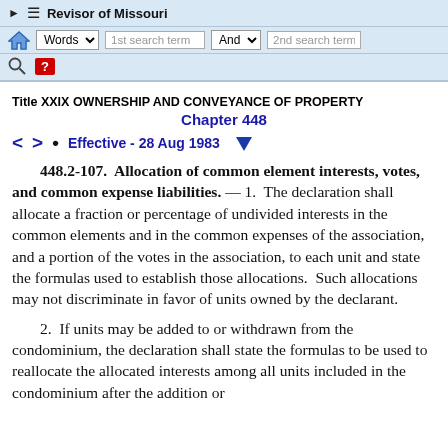Revisor of Missouri
Title XXIX OWNERSHIP AND CONVEYANCE OF PROPERTY
Chapter 448
Effective - 28 Aug 1983
448.2-107. Allocation of common element interests, votes, and common expense liabilities. — 1. The declaration shall allocate a fraction or percentage of undivided interests in the common elements and in the common expenses of the association, and a portion of the votes in the association, to each unit and state the formulas used to establish those allocations. Such allocations may not discriminate in favor of units owned by the declarant.
2. If units may be added to or withdrawn from the condominium, the declaration shall state the formulas to be used to reallocate the allocated interests among all units included in the condominium after the addition or withdrawal.